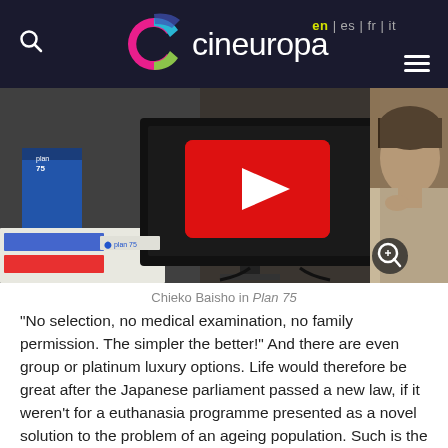cineuropa — en | es | fr | it
[Figure (screenshot): Video still showing an elderly Japanese woman in a beige hoodie looking at a screen displaying a YouTube-style red play button. Japanese signage visible. A magnifying glass icon appears in the lower right corner.]
Chieko Baisho in Plan 75
"No selection, no medical examination, no family permission. The simpler the better!" And there are even group or platinum luxury options. Life would therefore be great after the Japanese parliament passed a new law, if it weren't for a euthanasia programme presented as a novel solution to the problem of an ageing population. Such is the subject of the anticipation film (very close, and so possible and credible that it easily fits into the contemporary imagination), Plan 75 [+], the first very masterful feature film by Chie Hayakawa, discovered at the Cannes Film Festival, in the Un Certain Regard programme.